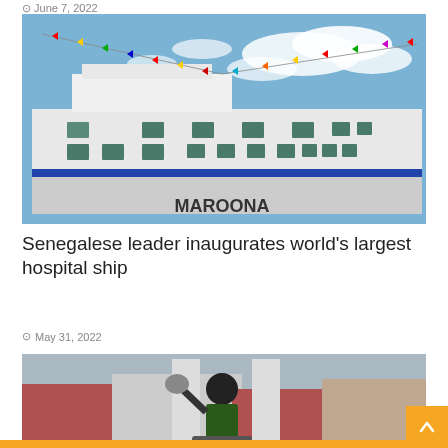June 7, 2022
[Figure (photo): Large white hospital ship with colorful pennant flags strung across the upper deck, docked at port under a partly cloudy blue sky. The ship has multiple decks with dark rectangular windows and the name 'MAROONA' visible.]
Senegalese leader inaugurates world's largest hospital ship
May 31, 2022
[Figure (photo): A man in a reflective vest holding a motorcycle helmet raised in the air while standing at what appears to be a town entrance gate, with other motorcycles and people visible in the background.]